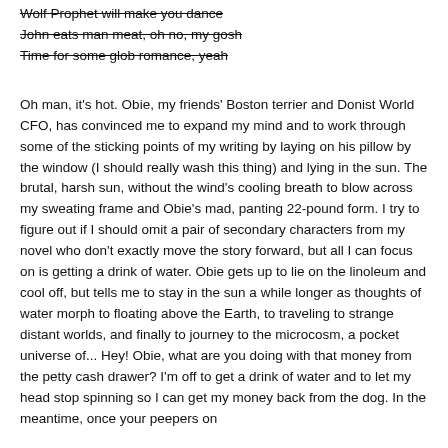Wolf Prophet will make you dance
John eats man meat, oh no, my gosh
Time for some glob romance, yeah
Oh man, it's hot. Obie, my friends' Boston terrier and Donist World CFO, has convinced me to expand my mind and to work through some of the sticking points of my writing by laying on his pillow by the window (I should really wash this thing) and lying in the sun. The brutal, harsh sun, without the wind's cooling breath to blow across my sweating frame and Obie's mad, panting 22-pound form. I try to figure out if I should omit a pair of secondary characters from my novel who don't exactly move the story forward, but all I can focus on is getting a drink of water. Obie gets up to lie on the linoleum and cool off, but tells me to stay in the sun a while longer as thoughts of water morph to floating above the Earth, to traveling to strange distant worlds, and finally to journey to the microcosm, a pocket universe of... Hey! Obie, what are you doing with that money from the petty cash drawer? I'm off to get a drink of water and to let my head stop spinning so I can get my money back from the dog. In the meantime, once your peepers on